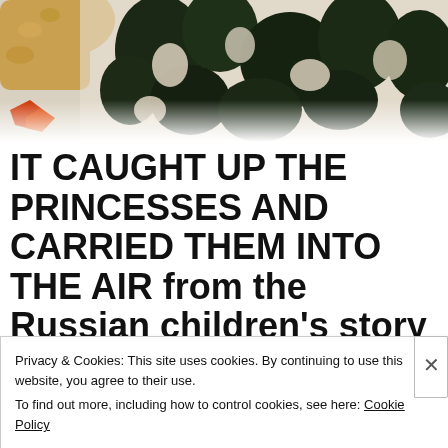[Figure (illustration): Top portion of an illustrated scene showing what appears to be a dragon or serpent creature with orange/red coloring on the left, and dark spotted or textured foliage/wave patterns in black, white and dark green on the right.]
IT CAUGHT UP THE PRINCESSES AND CARRIED THEM INTO THE AIR from the Russian children's story of “
Privacy & Cookies: This site uses cookies. By continuing to use this website, you agree to their use.
To find out more, including how to control cookies, see here: Cookie Policy